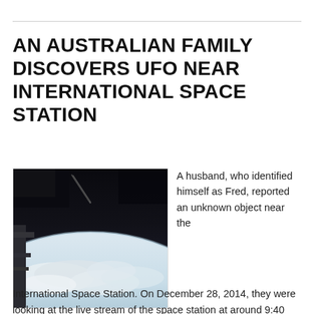AN AUSTRALIAN FAMILY DISCOVERS UFO NEAR INTERNATIONAL SPACE STATION
[Figure (photo): Photograph taken from the International Space Station showing Earth's curved horizon with clouds and space in the background, with a dark diagonal object visible in the upper portion.]
A husband, who identified himself as Fred, reported an unknown object near the International Space Station. On December 28, 2014, they were looking at the live stream of the space station at around 9:40 PM Sydney Time and when the ISS was approximately over France, they